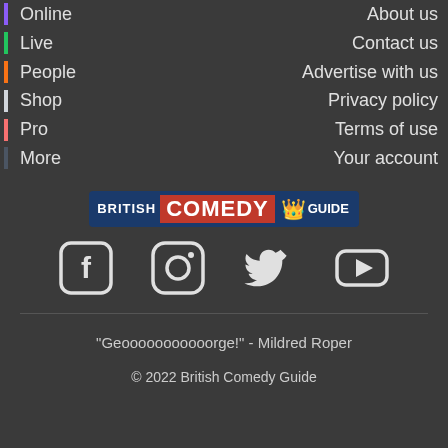Online
Live
People
Shop
Pro
More
About us
Contact us
Advertise with us
Privacy policy
Terms of use
Your account
[Figure (logo): British Comedy Guide logo with crown icon, blue background, red COMEDY text]
[Figure (infographic): Social media icons: Facebook, Instagram, Twitter, YouTube]
"Geooooooooooorge!" - Mildred Roper
© 2022 British Comedy Guide